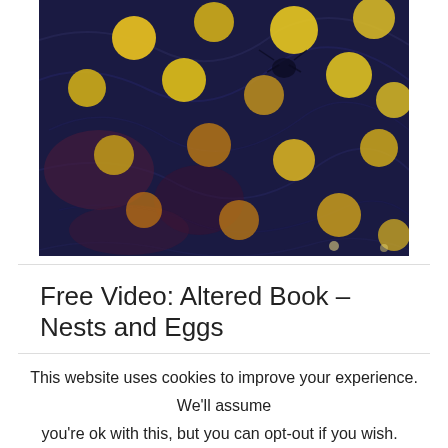[Figure (photo): Close-up photograph of a textured artwork featuring circular yellow and orange shapes resembling eggs or yolks on a dark blue/navy crinkled background, reminiscent of an altered book or mixed media piece.]
Free Video: Altered Book – Nests and Eggs
This website uses cookies to improve your experience. We'll assume you're ok with this, but you can opt-out if you wish. Accept Read More